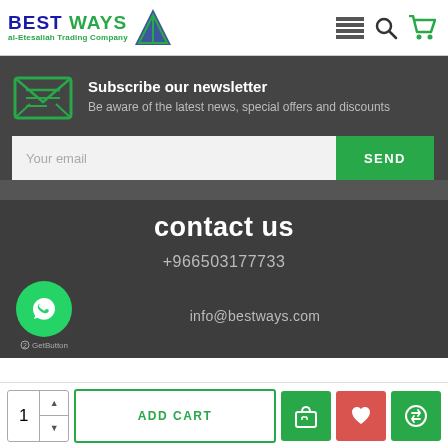[Figure (logo): Best Ways al-Etesaliah Trading Company logo with triangle icon]
[Figure (infographic): Navigation icons: menu list, search, shopping cart]
[Figure (illustration): Green envelope/mail icon for newsletter]
Subscribe our newsletter
Be aware of the latest news, special offers and discounts
Your email
SEND
contact us
+966503177733
[Figure (logo): WhatsApp green circle button icon]
info@bestways.com
GetButton
1
ADD CART